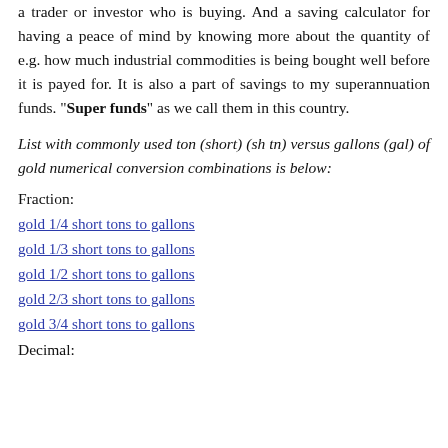a trader or investor who is buying. And a saving calculator for having a peace of mind by knowing more about the quantity of e.g. how much industrial commodities is being bought well before it is payed for. It is also a part of savings to my superannuation funds. "Super funds" as we call them in this country.
List with commonly used ton (short) (sh tn) versus gallons (gal) of gold numerical conversion combinations is below:
Fraction:
gold 1/4 short tons to gallons
gold 1/3 short tons to gallons
gold 1/2 short tons to gallons
gold 2/3 short tons to gallons
gold 3/4 short tons to gallons
Decimal: